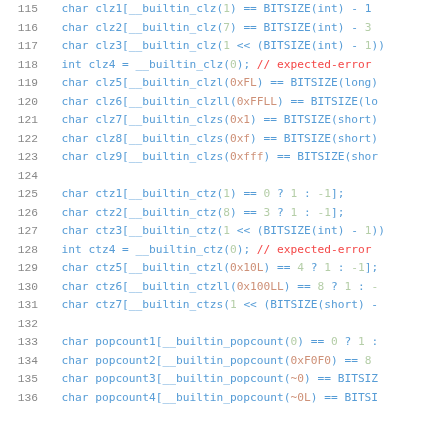Code listing showing lines 115-136 with clz, ctz, and popcount builtin tests in C
115: char clz1[__builtin_clz(1) == BITSIZE(int) - 1
116: char clz2[__builtin_clz(7) == BITSIZE(int) - 3
117: char clz3[__builtin_clz(1 << (BITSIZE(int) - 1)
118: int clz4 = __builtin_clz(0); // expected-error
119: char clz5[__builtin_clzl(0xFL) == BITSIZE(long)
120: char clz6[__builtin_clzll(0xFFLL) == BITSIZE(lo
121: char clz7[__builtin_clzs(0x1) == BITSIZE(short)
122: char clz8[__builtin_clzs(0xf) == BITSIZE(short)
123: char clz9[__builtin_clzs(0xfff) == BITSIZE(shor
124: (empty)
125: char ctz1[__builtin_ctz(1) == 0 ? 1 : -1];
126: char ctz2[__builtin_ctz(8) == 3 ? 1 : -1];
127: char ctz3[__builtin_ctz(1 << (BITSIZE(int) - 1)
128: int ctz4 = __builtin_ctz(0); // expected-error
129: char ctz5[__builtin_ctzl(0x10L) == 4 ? 1 : -1];
130: char ctz6[__builtin_ctzll(0x100LL) == 8 ? 1 : -
131: char ctz7[__builtin_ctzs(1 << (BITSIZE(short) -
132: (empty)
133: char popcount1[__builtin_popcount(0) == 0 ? 1 :
134: char popcount2[__builtin_popcount(0xF0F0) == 8
135: char popcount3[__builtin_popcount(~0) == BITSIZ
136: char popcount4[__builtin_popcount(~0L) == BITSI